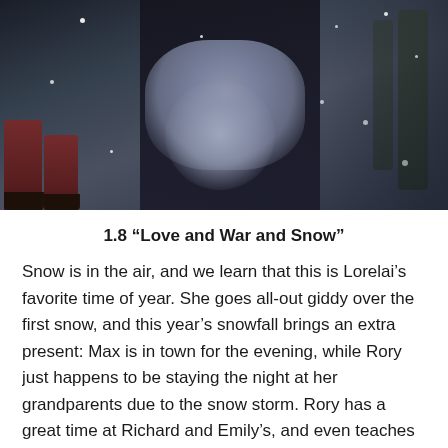[Figure (photo): A dark, wintry outdoor scene with a person in a dark coat and light blue/grey scarf, snow falling, another figure partially visible on the left in dark red/burgundy clothing and dark shoes. The scene is blurred/bokeh with snow visible.]
1.8 “Love and War and Snow”
Snow is in the air, and we learn that this is Lorelai’s favorite time of year. She goes all-out giddy over the first snow, and this year’s snowfall brings an extra present: Max is in town for the evening, while Rory just happens to be staying the night at her grandparents due to the snow storm. Rory has a great time at Richard and Emily’s, and even teaches them to enjoy a frozen pizza when their chef cancels because of the weather.